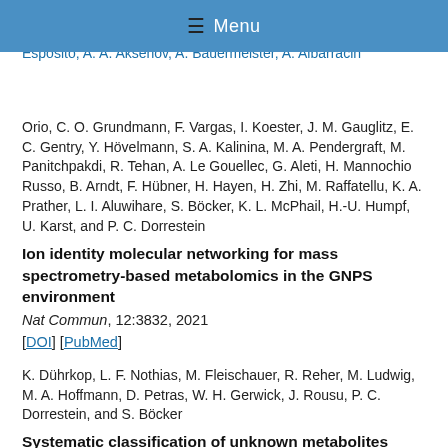≡ Menu
Dührkop, A. M. Caraballo-Rodriguez, K. C. Weldon, M. Nothias-Esposito, A. A. Aksenov, A. Bauermeister, A. Albarracin Orio, C. O. Grundmann, F. Vargas, I. Koester, J. M. Gauglitz, E. C. Gentry, Y. Hövelmann, S. A. Kalinina, M. A. Pendergraft, M. Panitchpakdi, R. Tehan, A. Le Gouellec, G. Aleti, H. Mannochio Russo, B. Arndt, F. Hübner, H. Hayen, H. Zhi, M. Raffatellu, K. A. Prather, L. I. Aluwihare, S. Böcker, K. L. McPhail, H.-U. Humpf, U. Karst, and P. C. Dorrestein
Ion identity molecular networking for mass spectrometry-based metabolomics in the GNPS environment
Nat Commun, 12:3832, 2021
[DOI] [PubMed]
K. Dührkop, L. F. Nothias, M. Fleischauer, R. Reher, M. Ludwig, M. A. Hoffmann, D. Petras, W. H. Gerwick, J. Rousu, P. C. Dorrestein, and S. Böcker
Systematic classification of unknown metabolites using high-resolution fragmentation mass spectra